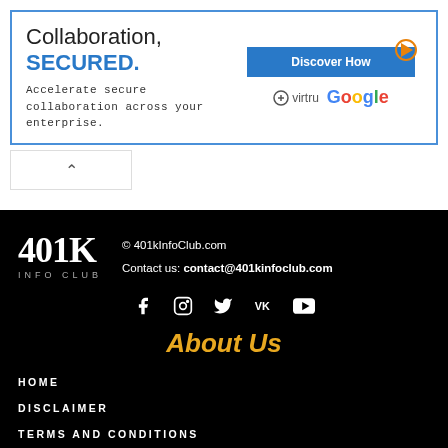[Figure (screenshot): Advertisement banner: 'Collaboration, SECURED.' with Virtru and Google logos and a 'Discover How' button]
© 401kInfoClub.com
Contact us: contact@401kinfoclub.com
401K INFO CLUB
[Figure (infographic): Social media icons row: Facebook, Instagram, Twitter, VK, YouTube]
About Us
HOME
DISCLAIMER
TERMS AND CONDITIONS
PRIVACY POLICY